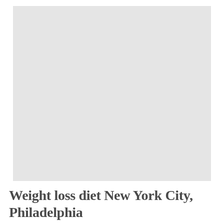[Figure (photo): Large light gray rectangular placeholder image occupying the upper portion of the page]
Weight loss diet New York City, Philadelphia